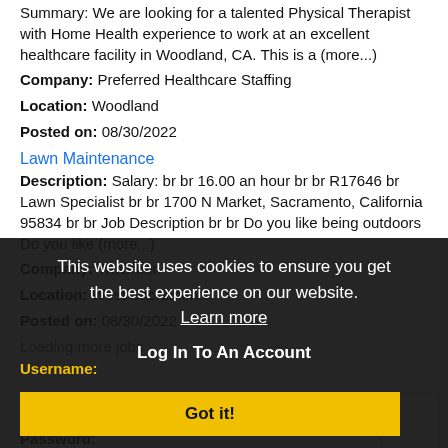Summary: We are looking for a talented Physical Therapist with Home Health experience to work at an excellent healthcare facility in Woodland, CA. This is a (more...)
Company: Preferred Healthcare Staffing
Location: Woodland
Posted on: 08/30/2022
Lawn Maintenance
Description: Salary: br br 16.00 an hour br br R17646 br Lawn Specialist br br 1700 N Market, Sacramento, California 95834 br br Job Description br br Do you like being outdoors Do you like (more...)
Company: TruGreen
Location: West Sacramento
Posted on: 08/30/2022
Loading more jobs
This website uses cookies to ensure you get the best experience on our website. Learn more
Log In To An Account
Got it!
Username:
Password: